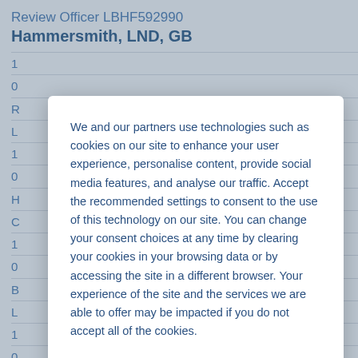Review Officer LBHF592990
Hammersmith, LND, GB
We and our partners use technologies such as cookies on our site to enhance your user experience, personalise content, provide social media features, and analyse our traffic. Accept the recommended settings to consent to the use of this technology on our site. You can change your consent choices at any time by clearing your cookies in your browsing data or by accessing the site in a different browser. Your experience of the site and the services we are able to offer may be impacted if you do not accept all of the cookies.
Modify Cookie Preferences
Accept All Cookies